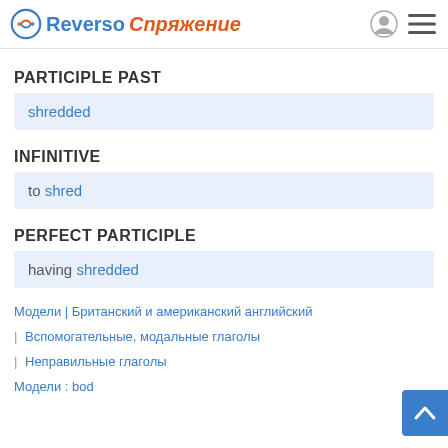Reverso Спряжение
PARTICIPLE PAST
shredded
INFINITIVE
to shred
PERFECT PARTICIPLE
having shredded
Модели | Британский и американский английский
| Вспомогательные, модальные глаголы
| Неправильные глаголы
Модели : bod